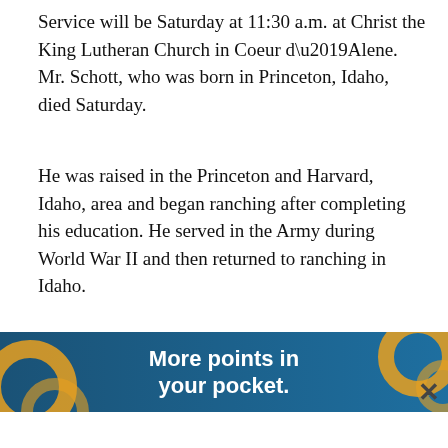Service will be Saturday at 11:30 a.m. at Christ the King Lutheran Church in Coeur d’Alene. Mr. Schott, who was born in Princeton, Idaho, died Saturday.
He was raised in the Princeton and Harvard, Idaho, area and began ranching after completing his education. He served in the Army during World War II and then returned to ranching in Idaho.
He retired in 1972 and moved to Post Falls. He moved to Hayden Lake in 1995 and was a member of the Good Sam Club, the Grange and the Eagles Lodge of Post Falls.
Mr. Schott was preceded in death by his first wife, Phyllis, in 1986.
Surviv… ott of
[Figure (screenshot): Advertisement banner: blue background with orange decorative elements, text reads 'More points in your pocket.' with a close (x) button in the top right corner.]